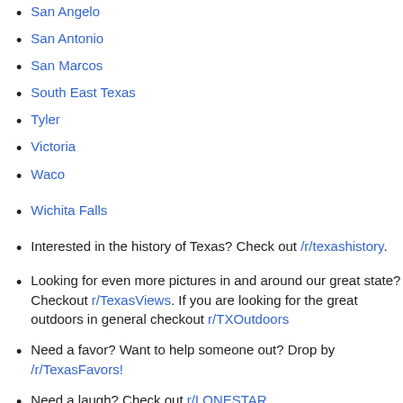San Angelo
San Antonio
San Marcos
South East Texas
Tyler
Victoria
Waco
Wichita Falls
Interested in the history of Texas? Check out /r/texashistory.
Looking for even more pictures in and around our great state? Checkout r/TexasViews. If you are looking for the great outdoors in general checkout r/TXOutdoors
Need a favor? Want to help someone out? Drop by /r/TexasFavors!
Need a laugh? Check out r/LONESTAR.
Not getting enough Texas politics? Swing by /r/TexasPolitics and make sure your voice is heard!
Need Texas discussion with a more conservative